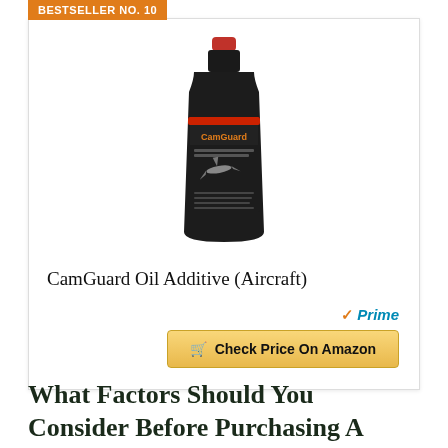BESTSELLER NO. 10
[Figure (photo): A dark bottle of CamGuard Oil Additive (Aircraft) with a red cap and product label showing an aircraft, against a white background.]
CamGuard Oil Additive (Aircraft)
Prime
Check Price On Amazon
What Factors Should You Consider Before Purchasing A